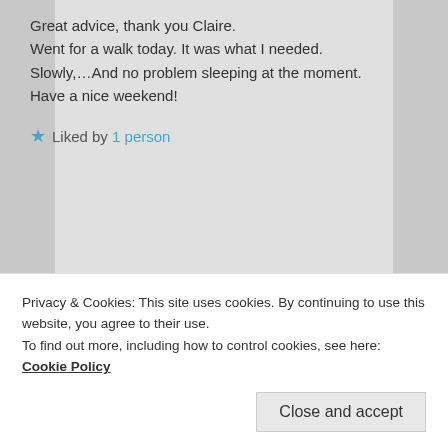Great advice, thank you Claire. Went for a walk today. It was what I needed.
Slowly,…And no problem sleeping at the moment.
Have a nice weekend!
★ Liked by 1 person
clairei47
Privacy & Cookies: This site uses cookies. By continuing to use this website, you agree to their use.
To find out more, including how to control cookies, see here: Cookie Policy
Close and accept